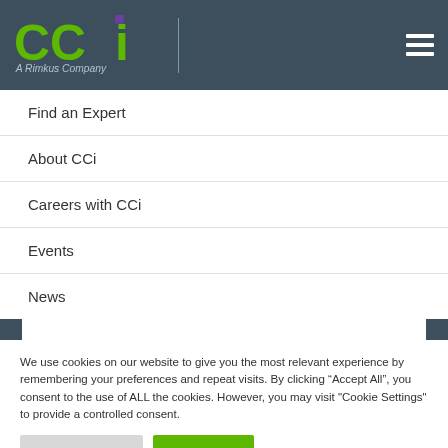[Figure (logo): CCi A Rimkus Company logo in green and dark blue on dark background header with hamburger menu icon]
Find an Expert
About CCi
Careers with CCi
Events
News
We use cookies on our website to give you the most relevant experience by remembering your preferences and repeat visits. By clicking “Accept All”, you consent to the use of ALL the cookies. However, you may visit "Cookie Settings" to provide a controlled consent.
Cookie Settings | Accept All